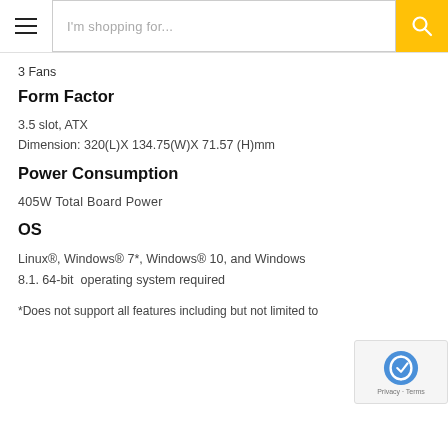I'm shopping for...
3 Fans
Form Factor
3.5 slot, ATX
Dimension: 320(L)X 134.75(W)X 71.57 (H)mm
Power Consumption
405W Total Board Power
OS
Linux®, Windows® 7*, Windows® 10, and Windows 8.1. 64-bit  operating system required
*Does not support all features including but not limited to